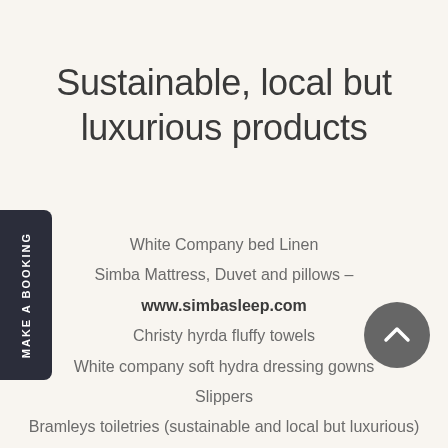Sustainable, local but luxurious products
White Company bed Linen
Simba Mattress, Duvet and pillows – www.simbasleep.com
Christy hyrda fluffy towels
White company soft hydra dressing gowns
Slippers
Bramleys toiletries (sustainable and local but luxurious)
Ecover washing liquid and dishwasher tablets
Nespresso coffee machine